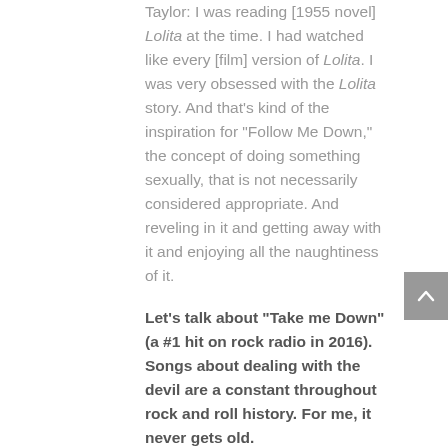Taylor: I was reading [1955 novel] Lolita at the time. I had watched like every [film] version of Lolita. I was very obsessed with the Lolita story. And that's kind of the inspiration for "Follow Me Down," the concept of doing something sexually, that is not necessarily considered appropriate. And reveling in it and getting away with it and enjoying all the naughtiness of it.
Let's talk about "Take me Down" (a #1 hit on rock radio in 2016). Songs about dealing with the devil are a constant throughout rock and roll history. For me, it never gets old.
Taylor: That obviously stems from the Robert Johnson legend of going down to the crossroads and selling your soul for your music. In the blues, in our case, rock and roll...
Ben: That [story] inspired the [1986] movie Crossroads. There's a little throw to the